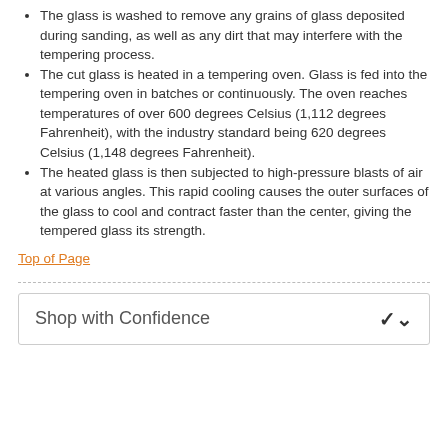The glass is washed to remove any grains of glass deposited during sanding, as well as any dirt that may interfere with the tempering process.
The cut glass is heated in a tempering oven. Glass is fed into the tempering oven in batches or continuously. The oven reaches temperatures of over 600 degrees Celsius (1,112 degrees Fahrenheit), with the industry standard being 620 degrees Celsius (1,148 degrees Fahrenheit).
The heated glass is then subjected to high-pressure blasts of air at various angles. This rapid cooling causes the outer surfaces of the glass to cool and contract faster than the center, giving the tempered glass its strength.
Top of Page
Shop with Confidence